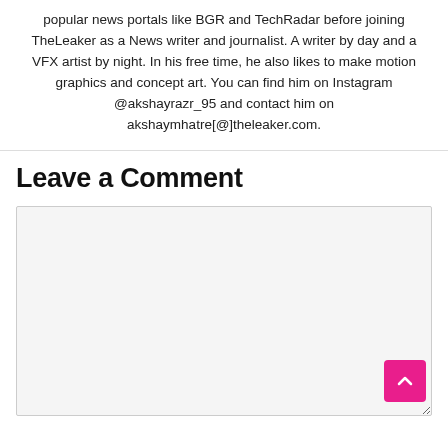popular news portals like BGR and TechRadar before joining TheLeaker as a News writer and journalist. A writer by day and a VFX artist by night. In his free time, he also likes to make motion graphics and concept art. You can find him on Instagram @akshayrazr_95 and contact him on akshaymhatre[@]theleaker.com.
Leave a Comment